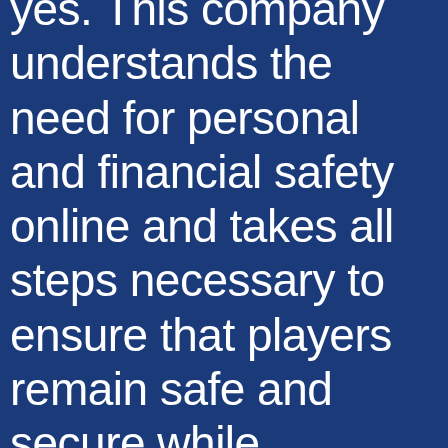yes. This company understands the need for personal and financial safety online and takes all steps necessary to ensure that players remain safe and secure while enjoying the many casino services that are supported, casinos do use apps. Game development in the mobile market is extremely